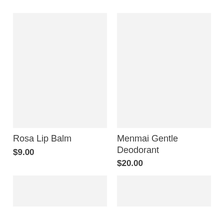[Figure (photo): Product image placeholder for Rosa Lip Balm, light gray background]
Rosa Lip Balm
$9.00
[Figure (photo): Product image placeholder for Menmai Gentle Deodorant, light gray background]
Menmai Gentle Deodorant
$20.00
[Figure (photo): Product image placeholder, bottom left, light gray background]
[Figure (photo): Product image placeholder, bottom right, light gray background]